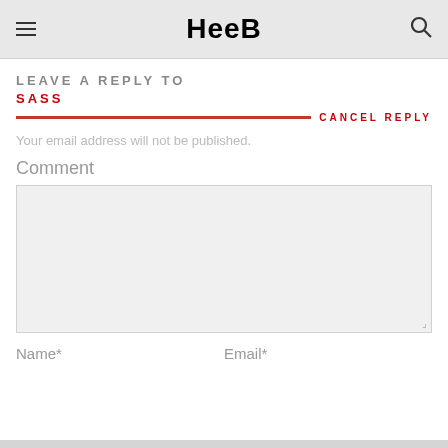Heeb
LEAVE A REPLY TO
SASS
CANCEL REPLY
Your email address will not be published.
Comment
Name*
Email*